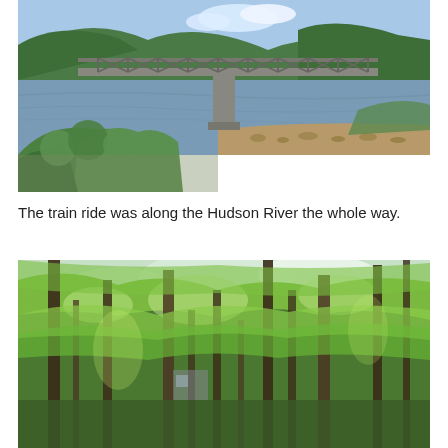[Figure (photo): A river scene with a steel truss bridge crossing over calm water, rocky shoreline, green trees and hills in the background under a blue sky with clouds.]
The train ride was along the Hudson River the whole way.
[Figure (photo): A lush green forest scene with tall deciduous trees with bright green leaves, light filtering through the canopy, and a glimpse of a structure or water in the background.]